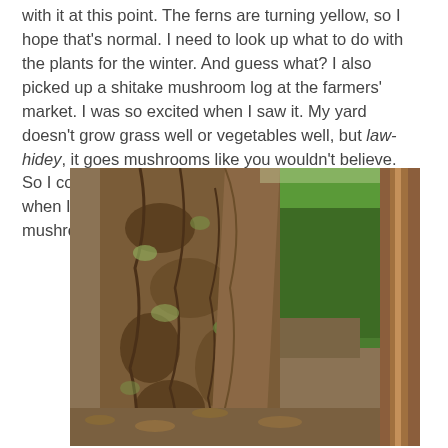with it at this point. The ferns are turning yellow, so I hope that's normal. I need to look up what to do with the plants for the winter. And guess what? I also picked up a shitake mushroom log at the farmers' market. I was so excited when I saw it. My yard doesn't grow grass well or vegetables well, but law-hidey, it goes mushrooms like you wouldn't believe. So I couldn't resist. I leaned the log against a tree when I got home, and I've already got my first mushrooms!
[Figure (photo): Outdoor photo of a large textured tree trunk leaning against another tree, with bright green foliage visible in the background and a wooden fence or structure on the right side. The ground is covered with dead leaves and debris. Sunlight creates dappled patterns on the bark.]